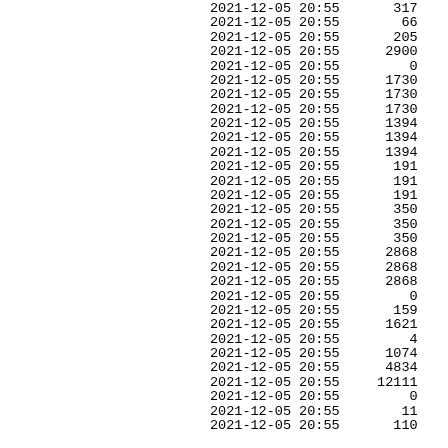| datetime | value |
| --- | --- |
| 2021-12-05 20:55 | 317 |
| 2021-12-05 20:55 | 66 |
| 2021-12-05 20:55 | 205 |
| 2021-12-05 20:55 | 2900 |
| 2021-12-05 20:55 | 0 |
| 2021-12-05 20:55 | 1730 |
| 2021-12-05 20:55 | 1730 |
| 2021-12-05 20:55 | 1730 |
| 2021-12-05 20:55 | 1394 |
| 2021-12-05 20:55 | 1394 |
| 2021-12-05 20:55 | 1394 |
| 2021-12-05 20:55 | 191 |
| 2021-12-05 20:55 | 191 |
| 2021-12-05 20:55 | 191 |
| 2021-12-05 20:55 | 350 |
| 2021-12-05 20:55 | 350 |
| 2021-12-05 20:55 | 350 |
| 2021-12-05 20:55 | 2868 |
| 2021-12-05 20:55 | 2868 |
| 2021-12-05 20:55 | 2868 |
| 2021-12-05 20:55 | 0 |
| 2021-12-05 20:55 | 159 |
| 2021-12-05 20:55 | 1621 |
| 2021-12-05 20:55 | 4 |
| 2021-12-05 20:55 | 1074 |
| 2021-12-05 20:55 | 4834 |
| 2021-12-05 20:55 | 12111 |
| 2021-12-05 20:55 | 0 |
| 2021-12-05 20:55 | 11 |
| 2021-12-05 20:55 | 110 |